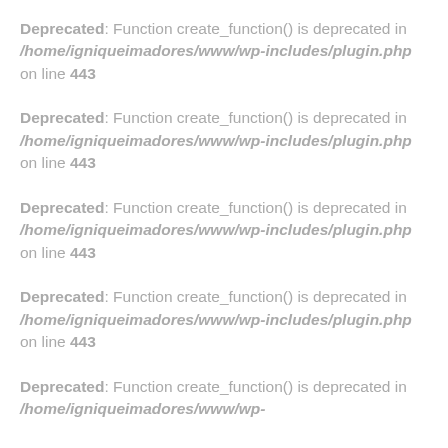Deprecated: Function create_function() is deprecated in /home/igniqueimadores/www/wp-includes/plugin.php on line 443
Deprecated: Function create_function() is deprecated in /home/igniqueimadores/www/wp-includes/plugin.php on line 443
Deprecated: Function create_function() is deprecated in /home/igniqueimadores/www/wp-includes/plugin.php on line 443
Deprecated: Function create_function() is deprecated in /home/igniqueimadores/www/wp-includes/plugin.php on line 443
Deprecated: Function create_function() is deprecated in /home/igniqueimadores/www/wp-includes/plugin.php on line 443